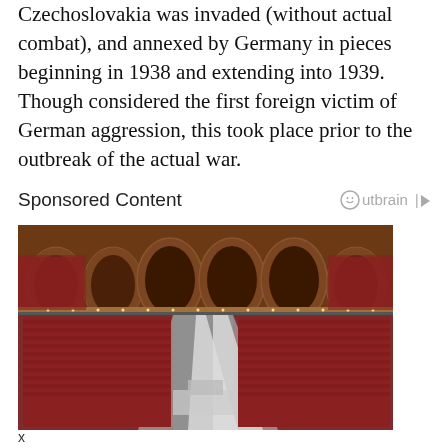Czechoslovakia was invaded (without actual combat), and annexed by Germany in pieces beginning in 1938 and extending into 1939. Though considered the first foreign victim of German aggression, this took place prior to the outbreak of the actual war.
Sponsored Content
[Figure (photo): Aerial view of a large ornate legislative chamber filled with people seated in rows, with grand arched galleries above and red seating areas.]
x